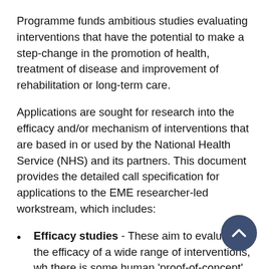Programme funds ambitious studies evaluating interventions that have the potential to make a step-change in the promotion of health, treatment of disease and improvement of rehabilitation or long-term care.
Applications are sought for research into the efficacy and/or mechanism of interventions that are based in or used by the National Health Service (NHS) and its partners. This document provides the detailed call specification for applications to the EME researcher-led workstream, which includes:
Efficacy studies - These aim to evaluate the efficacy of a wide range of interventions, wh there is some human 'proof-of-concept', i.e. a signal